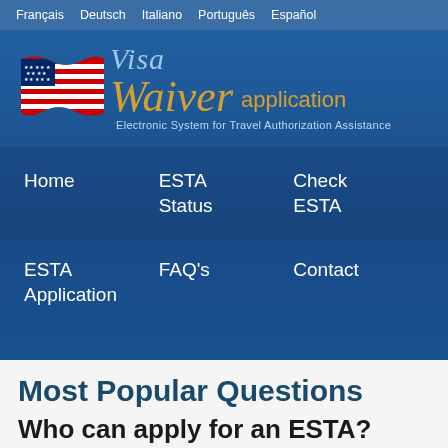Français   Deutsch   Italiano   Português   Español
[Figure (logo): Visa Waiver application logo with US flag and stylized script text. Subtitle: Electronic System for Travel Authorization Assistance]
Home   ESTA Status   Check ESTA
ESTA Application   FAQ's   Contact
Most Popular Questions
Who can apply for an ESTA?